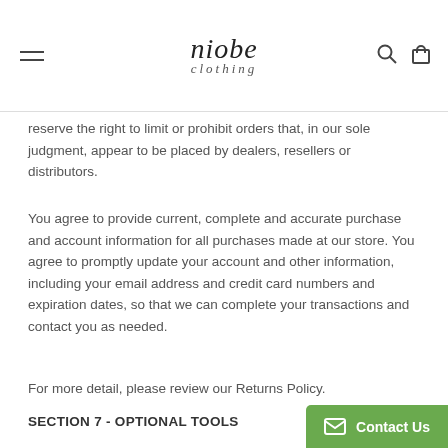niobe clothing
reserve the right to limit or prohibit orders that, in our sole judgment, appear to be placed by dealers, resellers or distributors.
You agree to provide current, complete and accurate purchase and account information for all purchases made at our store. You agree to promptly update your account and other information, including your email address and credit card numbers and expiration dates, so that we can complete your transactions and contact you as needed.
For more detail, please review our Returns Policy.
SECTION 7 - OPTIONAL TOOLS